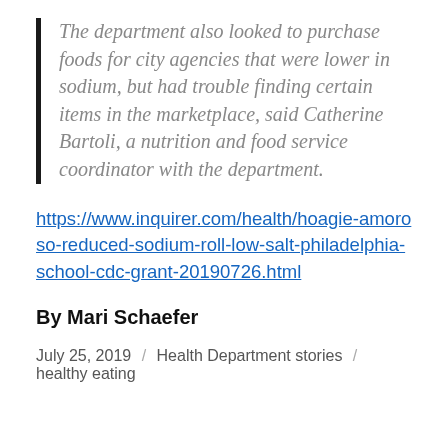The department also looked to purchase foods for city agencies that were lower in sodium, but had trouble finding certain items in the marketplace, said Catherine Bartoli, a nutrition and food service coordinator with the department.
https://www.inquirer.com/health/hoagie-amoroso-reduced-sodium-roll-low-salt-philadelphia-school-cdc-grant-20190726.html
By Mari Schaefer
July 25, 2019 / Health Department stories / healthy eating